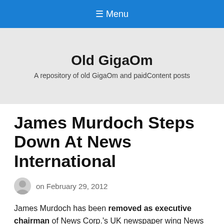≡ Menu
Old GigaOm
A repository of old GigaOm and paidContent posts
James Murdoch Steps Down At News International
on February 29, 2012
James Murdoch has been removed as executive chairman of News Corp.'s UK newspaper wing News International, as the phone hacking and media ethics row